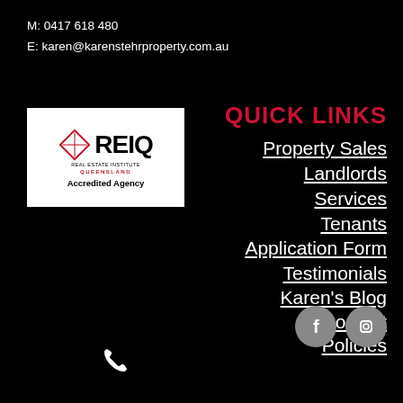M: 0417 618 480
E: karen@karenstehrproperty.com.au
[Figure (logo): REIQ Real Estate Institute Queensland Accredited Agency logo with diamond shape]
QUICK LINKS
Property Sales
Landlords
Services
Tenants
Application Form
Testimonials
Karen's Blog
Contact
Policies
[Figure (illustration): Facebook and Instagram social media icons, and a phone icon at the bottom]